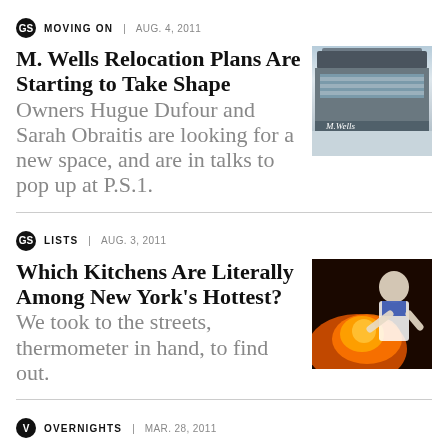MOVING ON | AUG. 4, 2011
M. Wells Relocation Plans Are Starting to Take Shape
Owners Hugue Dufour and Sarah Obraitis are looking for a new space, and are in talks to pop up at P.S.1.
[Figure (photo): Exterior of M. Wells diner building]
LISTS | AUG. 3, 2011
Which Kitchens Are Literally Among New York's Hottest?
We took to the streets, thermometer in hand, to find out.
[Figure (photo): Chef cooking with flames in a hot kitchen]
OVERNIGHTS | MAR. 28, 2011